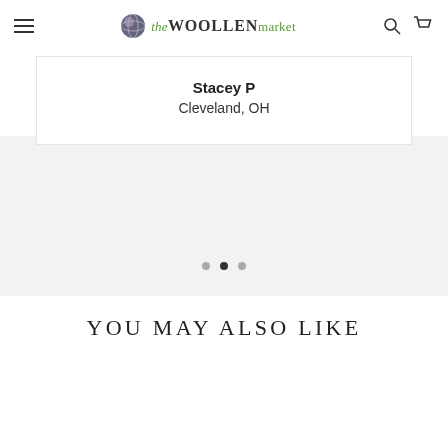the WOOLLEN market
Stacey P
Cleveland, OH
[Figure (other): Carousel pagination dots — three circles, middle one filled dark indicating current slide]
YOU MAY ALSO LIKE